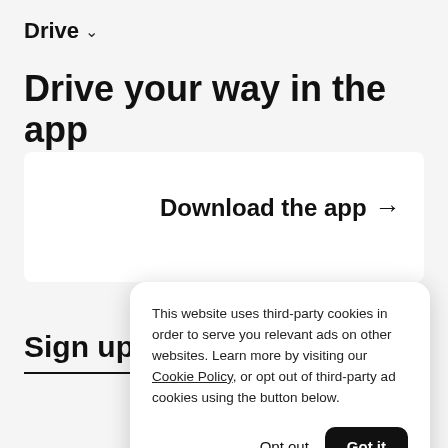Drive ˅
Drive your way in the app
Download the app →
Sign up
This website uses third-party cookies in order to serve you relevant ads on other websites. Learn more by visiting our Cookie Policy, or opt out of third-party ad cookies using the button below.